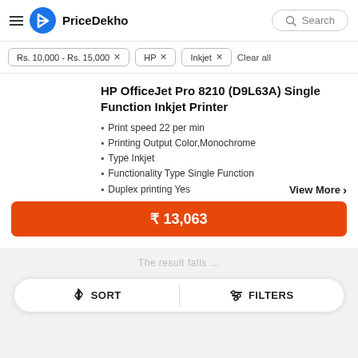PriceDekho
Rs. 10,000 - Rs. 15,000 × | HP × | Inkjet × | Clear all
HP OfficeJet Pro 8210 (D9L63A) Single Function Inkjet Printer
Print speed 22 per min
Printing Output Color,Monochrome
Type Inkjet
Functionality Type Single Function
Duplex printing Yes
₹ 13,063
SORT | FILTERS